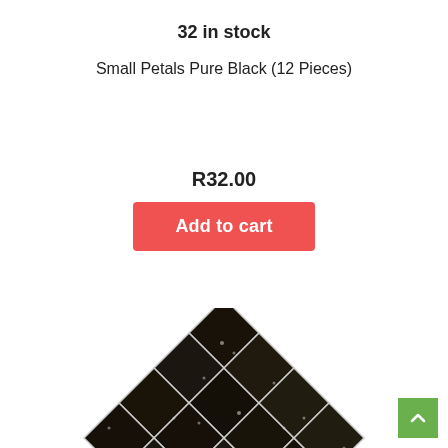32 in stock
Small Petals Pure Black (12 Pieces)
R32.00
Add to cart
[Figure (photo): Close-up photo of black mosaic tiles arranged in a grid pattern, viewed at an angle, with white grout lines and small white speckles on the dark tiles.]